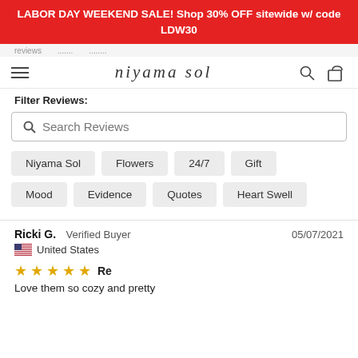LABOR DAY WEEKEND SALE! Shop 30% OFF sitewide w/ code LDW30
[Figure (logo): niyama sol script logo with hamburger menu, search icon, and bag icon]
Filter Reviews:
Search Reviews
Niyama Sol
Flowers
24/7
Gift
Mood
Evidence
Quotes
Heart Swell
Ricki G.  Verified Buyer   05/07/2021
United States
★★★★★ Re
Love them so cozy and pretty